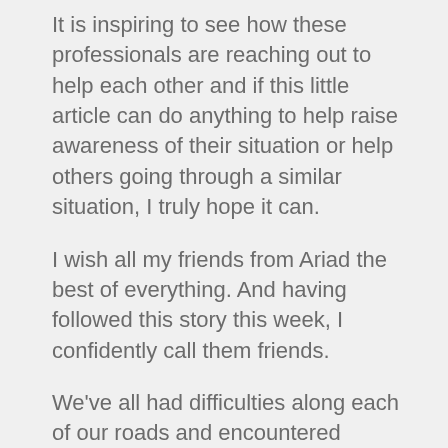It is inspiring to see how these professionals are reaching out to help each other and if this little article can do anything to help raise awareness of their situation or help others going through a similar situation, I truly hope it can.
I wish all my friends from Ariad the best of everything. And having followed this story this week, I confidently call them friends.
We've all had difficulties along each of our roads and encountered variations of unfairness, arrogance and disheartening behavior from our